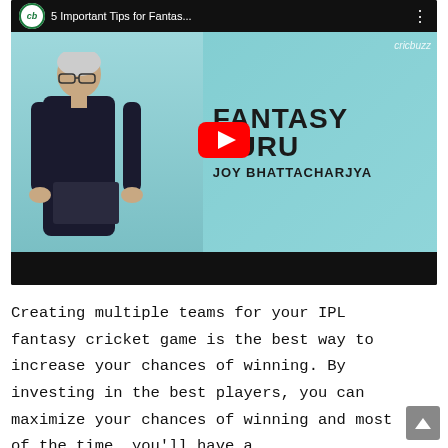[Figure (screenshot): YouTube video thumbnail for '5 Important Tips for Fantas...' on cricbuzz channel, showing a man in dark shirt standing in front of a teal background with text 'FANTASY GURU JOY BHATTACHARJYA' and a YouTube play button overlay.]
Creating multiple teams for your IPL fantasy cricket game is the best way to increase your chances of winning. By investing in the best players, you can maximize your chances of winning and most of the time, you'll have a